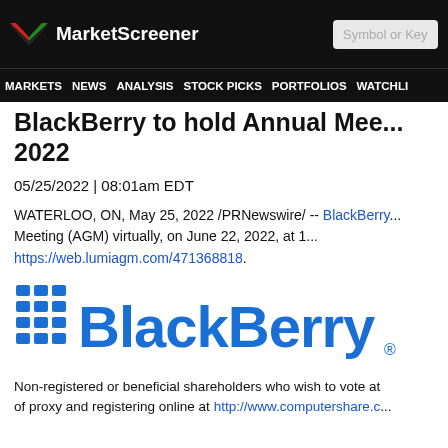MarketScreener | Symbol or Key
MARKETS NEWS ANALYSIS STOCK PICKS PORTFOLIOS WATCHLI
BlackBerry to hold Annual Mee... 2022
05/25/2022 | 08:01am EDT
WATERLOO, ON, May 25, 2022 /PRNewswire/ -- BlackBerry... Meeting (AGM) virtually, on June 22, 2022, at 1... https://web.lumiagm.com/471368818.
[Figure (logo): BlackBerry logo in blue with keyboard grid icon]
Non-registered or beneficial shareholders who wish to vote at... of proxy and registering online at http://www.computershare.c...